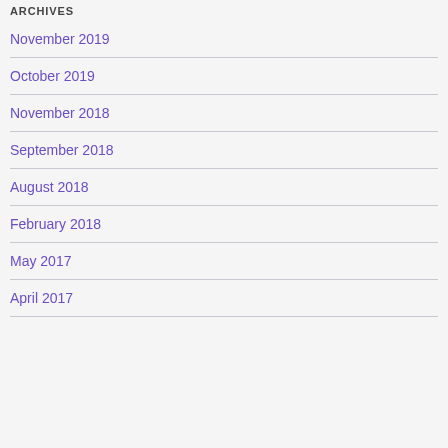ARCHIVES
November 2019
October 2019
November 2018
September 2018
August 2018
February 2018
May 2017
April 2017